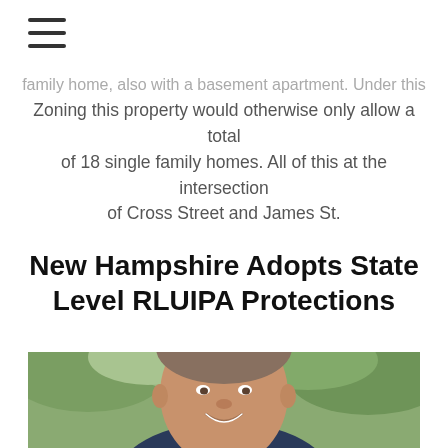≡
family home, also with a basement apartment. Under this Zoning this property would otherwise only allow a total of 18 single family homes. All of this at the intersection of Cross Street and James St.
New Hampshire Adopts State Level RLUIPA Protections
[Figure (photo): Portrait photo of a middle-aged man smiling, wearing a dark navy jacket and white shirt, photographed outdoors with green foliage in background.]